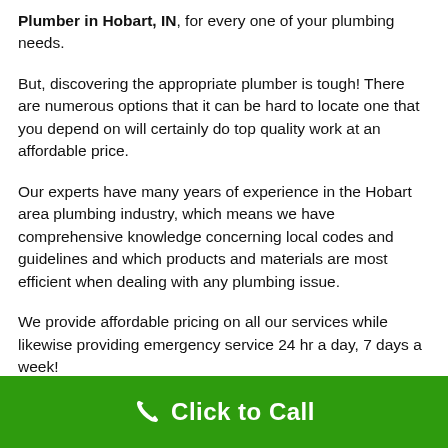Plumber in Hobart, IN, for every one of your plumbing needs.
But, discovering the appropriate plumber is tough! There are numerous options that it can be hard to locate one that you depend on will certainly do top quality work at an affordable price.
Our experts have many years of experience in the Hobart area plumbing industry, which means we have comprehensive knowledge concerning local codes and guidelines and which products and materials are most efficient when dealing with any plumbing issue.
We provide affordable pricing on all our services while likewise providing emergency service 24 hr a day, 7 days a week!
[Figure (other): Green call-to-action button bar with phone icon and 'Click to Call' text in white on green background]